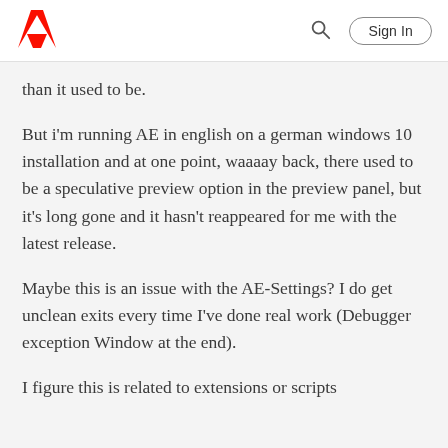Adobe | Sign In
than it used to be.
But i'm running AE in english on a german windows 10 installation and at one point, waaaay back, there used to be a speculative preview option in the preview panel, but it's long gone and it hasn't reappeared for me with the latest release.
Maybe this is an issue with the AE-Settings? I do get unclean exits every time I've done real work (Debugger exception Window at the end).
I figure this is related to extensions or scripts